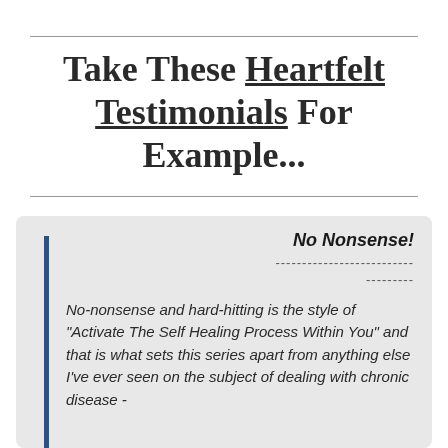Take These Heartfelt Testimonials For Example...
No Nonsense!
----------------------------- ---------
No-nonsense and hard-hitting is the style of "Activate The Self Healing Process Within You" and that is what sets this series apart from anything else I've ever seen on the subject of dealing with chronic disease -